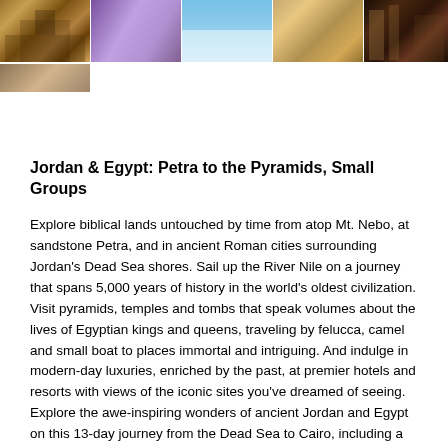[Figure (photo): Strip of five travel photos across the top: ancient Egyptian temple/ruins, purple-hued landscape, bright blue sky/water scene, sandy desert ruins, and a dark luxury hotel interior. Below the first photo is a second smaller photo of a sandy/desert scene.]
Jordan & Egypt: Petra to the Pyramids, Small Groups
Explore biblical lands untouched by time from atop Mt. Nebo, at sandstone Petra, and in ancient Roman cities surrounding Jordan's Dead Sea shores. Sail up the River Nile on a journey that spans 5,000 years of history in the world's oldest civilization. Visit pyramids, temples and tombs that speak volumes about the lives of Egyptian kings and queens, traveling by felucca, camel and small boat to places immortal and intriguing. And indulge in modern-day luxuries, enriched by the past, at premier hotels and resorts with views of the iconic sites you've dreamed of seeing. Explore the awe-inspiring wonders of ancient Jordan and Egypt on this 13-day journey from the Dead Sea to Cairo, including a 4-night cruise on the Nile from Aswan to Luxor aboard a luxury riverboat. Begin in Amman, Jordan, with